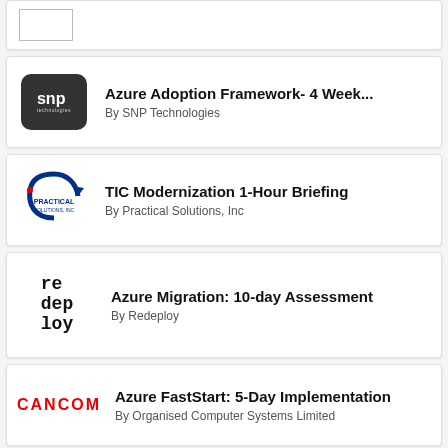[Figure (logo): Partial card at top showing a rectangular logo placeholder]
[Figure (logo): SNP Technologies logo - dark rounded rectangle with SNP text]
Azure Adoption Framework- 4 Week...
By SNP Technologies
[Figure (logo): Practical Solutions Inc logo with circular arrow and text]
TIC Modernization 1-Hour Briefing
By Practical Solutions, Inc
[Figure (logo): Redeploy logo in monospace text]
Azure Migration: 10-day Assessment
By Redeploy
[Figure (logo): CANCOM logo in red]
Azure FastStart: 5-Day Implementation
By Organised Computer Systems Limited